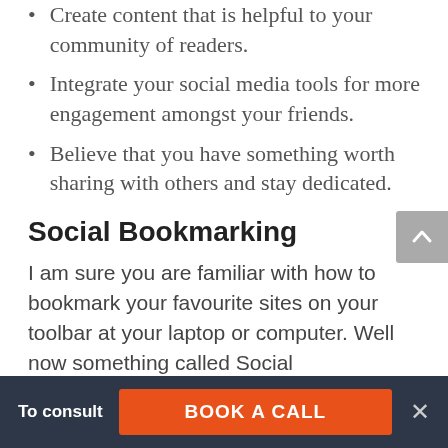Create content that is helpful to your community of readers.
Integrate your social media tools for more engagement amongst your friends.
Believe that you have something worth sharing with others and stay dedicated.
Social Bookmarking
I am sure you are familiar with how to bookmark your favourite sites on your toolbar at your laptop or computer. Well now something called Social Bookmarking has taken the web by storm! This process is best
To consult   BOOK A CALL   ×